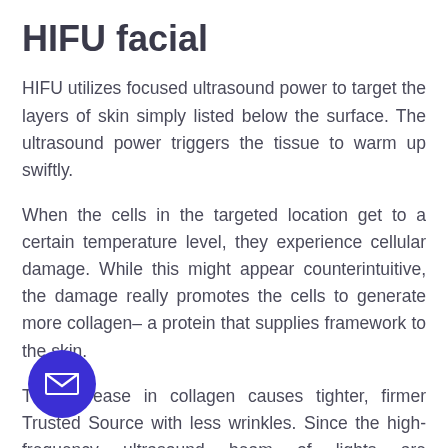HIFU facial
HIFU utilizes focused ultrasound power to target the layers of skin simply listed below the surface. The ultrasound power triggers the tissue to warm up swiftly.
When the cells in the targeted location get to a certain temperature level, they experience cellular damage. While this might appear counterintuitive, the damage really promotes the cells to generate more collagen– a protein that supplies framework to the skin.
The increase in collagen causes tighter, firmer Trusted Source with less wrinkles. Since the high-frequency ultrasound beam of lights are concentrated on a certain cells website listed